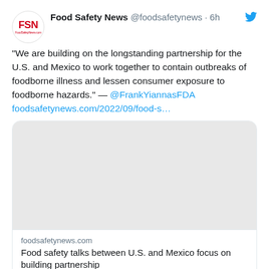[Figure (logo): FSN (Food Safety News) circular logo with red text]
Food Safety News @foodsafetynews · 6h
"We are building on the longstanding partnership for the U.S. and Mexico to work together to contain outbreaks of foodborne illness and lessen consumer exposure to foodborne hazards." — @FrankYiannasFDA foodsafetynews.com/2022/09/food-s…
[Figure (screenshot): Embedded article preview card with a gray image placeholder]
foodsafetynews.com
Food safety talks between U.S. and Mexico focus on building partnership